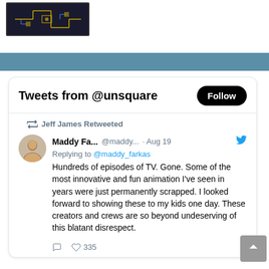[Figure (screenshot): Screenshot of a website with a dark circuit board style logo/image in the top left, a blue horizontal banner, and a Twitter/X embedded tweet widget showing tweets from @unsquare]
Tweets from @unsquare
Follow
Jeff James Retweeted
Maddy Fa... @maddy... · Aug 19
Replying to @maddy_farkas
Hundreds of episodes of TV. Gone. Some of the most innovative and fun animation I've seen in years were just permanently scrapped. I looked forward to showing these to my kids one day. These creators and crews are so beyond undeserving of this blatant disrespect.
335